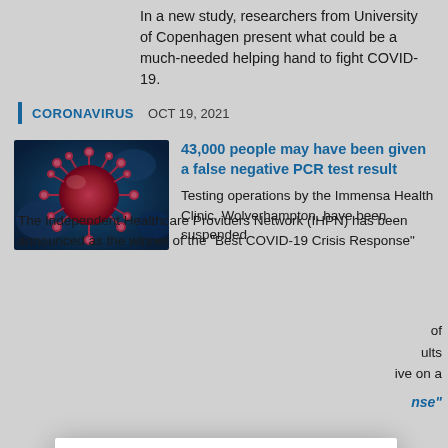In a new study, researchers from University of Copenhagen present what could be a much-needed helping hand to fight COVID-19.
CORONAVIRUS   OCT 19, 2021
[Figure (photo): Microscopic image of a coronavirus particle with red spiky protrusions against a blue background]
43,000 people may have been given a false negative PCR test result
Testing operations by the Immensa Health Clinic. Wolverhampton. have been suspended ...of ...ults ...ive on a
...nse"
Cookies
This site uses cookies to analyse traffic, remember your preferences, and optimise your experience.
LEARN MORE   CLOSE
The Independent Healthcare Providers Network (IHPN) has been announced as the winner of the “Best COVID-19 Crisis Response”